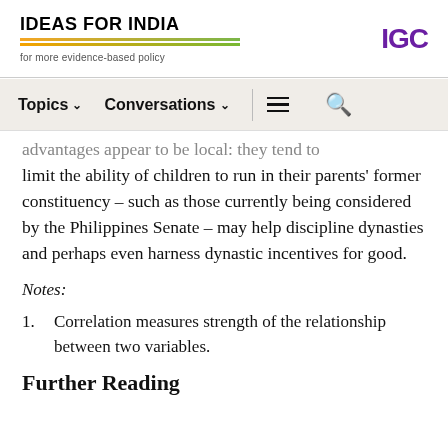IDEAS FOR INDIA — for more evidence-based policy | IGC
Topics | Conversations
advantages appear to be local: they tend to limit the ability of children to run in their parents' former constituency – such as those currently being considered by the Philippines Senate – may help discipline dynasties and perhaps even harness dynastic incentives for good.
Notes:
Correlation measures strength of the relationship between two variables.
Further Reading